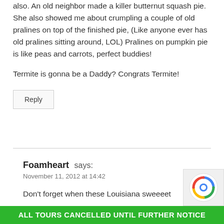also. An old neighbor made a killer butternut squash pie. She also showed me about crumpling a couple of old pralines on top of the finished pie, (Like anyone ever has old pralines sitting around, LOL) Pralines on pumpkin pie is like peas and carrots, perfect buddies!
Termite is gonna be a Daddy? Congrats Termite!
Reply
Foamheart says:
November 11, 2012 at 14:42
Don't forget when these Louisiana sweeeet
ALL TOURS CANCELLED UNTIL FURTHER NOTICE